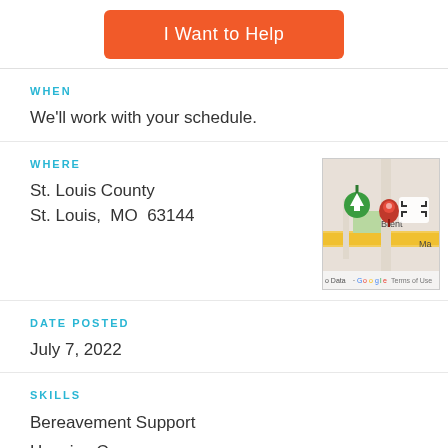I Want to Help
WHEN
We'll work with your schedule.
WHERE
St. Louis County
St. Louis, MO  63144
[Figure (map): Google Maps showing location near Brentwood, St. Louis, MO 63144 with a red pin marker and green tree icon.]
DATE POSTED
July 7, 2022
SKILLS
Bereavement Support
Hospice Care
People Skills